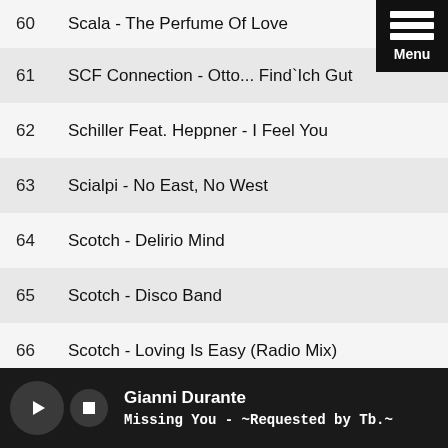60  Scala - The Perfume Of Love
61  SCF Connection - Otto... Find`Ich Gut
62  Schiller Feat. Heppner - I Feel You
63  Scialpi - No East, No West
64  Scotch - Delirio Mind
65  Scotch - Disco Band
66  Scotch - Loving Is Easy (Radio Mix)
67  Scotch - Man To Man
Gianni Durante | Missing You - ~Requested by Tb.~